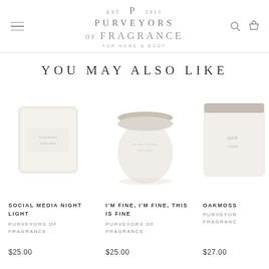Purveyors of Fragrance — For Home & Body — navigation header with hamburger menu, search and cart icons
YOU MAY ALSO LIKE
[Figure (photo): Candle jar with square frosted white glass container labeled Social Media Night Light]
SOCIAL MEDIA NIGHT LIGHT
PURVEYORS OF FRAGRANCE
$25.00
[Figure (photo): Round ceramic candle jar with lid labeled I'm Fine, I'm Fine, This Is Fine]
I'M FINE, I'M FINE, THIS IS FINE
PURVEYORS OF FRAGRANCE
$25.00
[Figure (photo): Partially visible candle jar labeled Oakmoss, partially cropped on right edge]
OAKMOSS
PURVEYORS OF FRAGRANCE
$27.00